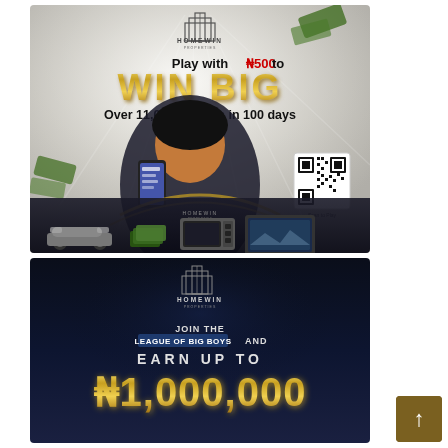[Figure (infographic): Homewin promotional banner. Light background with rays. Text: 'Play with ₦500 to WIN BIG Over 11,000 winners in 100 days'. Woman holding smartphone. QR code with 'Scan to Play'. Products: car, cash, microwave, TV. Floating banknotes.]
[Figure (infographic): Homewin dark-themed promotional banner on navy/dark blue background. Homewin logo at top. Text: 'JOIN THE LEAGUE OF BIG BOYS AND EARN UP TO ₦1,000,000'. Gold gradient text for the amount.]
[Figure (other): Scroll-to-top button in bottom right corner, dark gold/brown background with white upward arrow.]